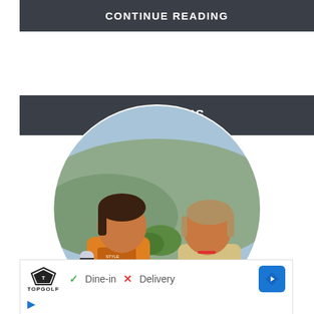CONTINUE READING
ABOUT US
[Figure (photo): Circular cropped photo of two young children outdoors with mountains and greenery in the background. Left child wears an orange graphic t-shirt, right child wears a light yellow shirt.]
[Figure (screenshot): Advertisement bar showing Topgolf logo, dine-in checkmark, delivery X mark, and a blue navigation diamond arrow icon, plus play and X icons below.]